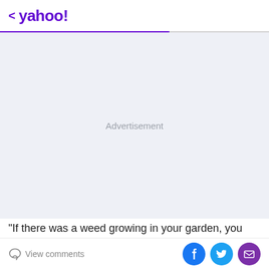< yahoo!
[Figure (other): Advertisement placeholder area with light gray/blue background and centered 'Advertisement' label text]
"If there was a weed growing in your garden, you wouldn't just throw acid and weed killer all over and kill
View comments | Facebook share | Twitter share | Email share